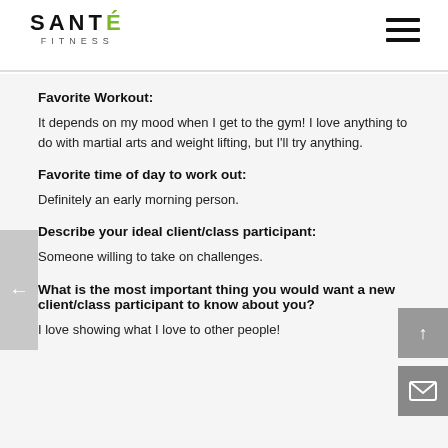[Figure (logo): Santé Fitness logo with green accent on the E and FITNESS subtitle]
Favorite Workout:
It depends on my mood when I get to the gym! I love anything to do with martial arts and weight lifting, but I'll try anything.
Favorite time of day to work out:
Definitely an early morning person.
Describe your ideal client/class participant:
Someone willing to take on challenges.
What is the most important thing you would want a new client/class participant to know about you?
I love showing what I love to other people!